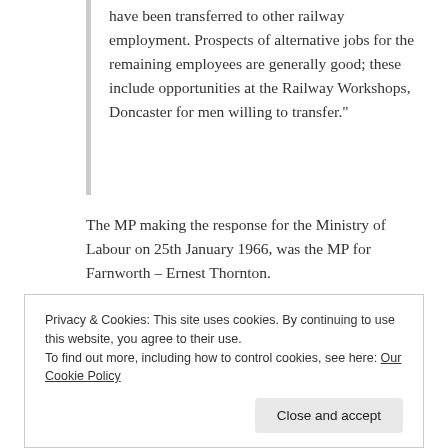have been transferred to other railway employment. Prospects of alternative jobs for the remaining employees are generally good; these include opportunities at the Railway Workshops, Doncaster for men willing to transfer."
The MP making the response for the Ministry of Labour on 25th January 1966, was the MP for Farnworth – Ernest Thornton.
Late in the previous year, Ted Fletcher, the MP for Darlington made a significant speech in a parliamentary debate held specifically about the closure of Darlington Works. A key point he made a number of times was about
Privacy & Cookies: This site uses cookies. By continuing to use this website, you agree to their use.
To find out more, including how to control cookies, see here: Our Cookie Policy